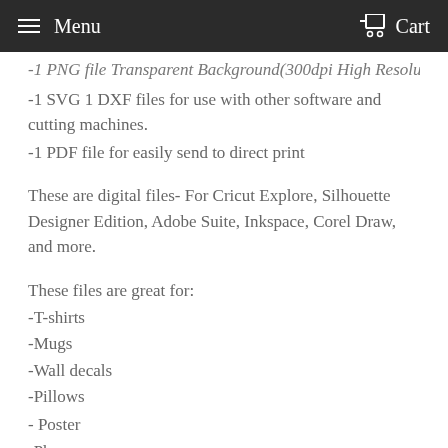Menu  Cart
-1 PNG file Transparent Background(300dpi High Resolution);
-1 SVG 1 DXF files for use with other software and cutting machines.
-1 PDF file for easily send to direct print
These are digital files- For Cricut Explore, Silhouette Designer Edition, Adobe Suite, Inkspace, Corel Draw, and more.
These files are great for:
-T-shirts
-Mugs
-Wall decals
-Pillows
-Poster
-Phone case
Or any Print N' Cuts.